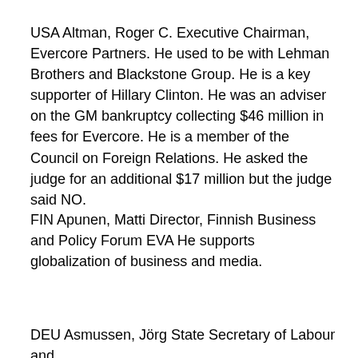USA Altman, Roger C. Executive Chairman, Evercore Partners. He used to be with Lehman Brothers and Blackstone Group. He is a key supporter of Hillary Clinton. He was an adviser on the GM bankruptcy collecting $46 million in fees for Evercore. He is a member of the Council on Foreign Relations. He asked the judge for an additional $17 million but the judge said NO.
FIN Apunen, Matti Director, Finnish Business and Policy Forum EVA He supports globalization of business and media.
DEU Asmussen, Jörg State Secretary of Labour and